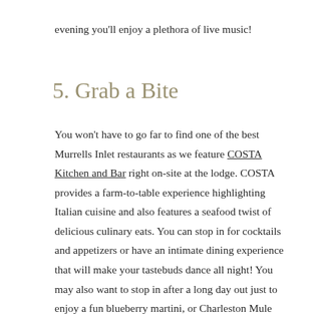evening you'll enjoy a plethora of live music!
5. Grab a Bite
You won't have to go far to find one of the best Murrells Inlet restaurants as we feature COSTA Kitchen and Bar right on-site at the lodge. COSTA provides a farm-to-table experience highlighting Italian cuisine and also features a seafood twist of delicious culinary eats. You can stop in for cocktails and appetizers or have an intimate dining experience that will make your tastebuds dance all night! You may also want to stop in after a long day out just to enjoy a fun blueberry martini, or Charleston Mule made with sweet-tea vodka which will make the perfect nightcap to a beautiful day out! Here are a few other Garden City